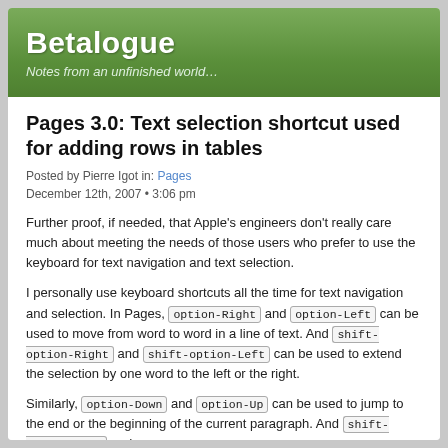Betalogue
Notes from an unfinished world…
Pages 3.0: Text selection shortcut used for adding rows in tables
Posted by Pierre Igot in: Pages
December 12th, 2007 • 3:06 pm
Further proof, if needed, that Apple's engineers don't really care much about meeting the needs of those users who prefer to use the keyboard for text navigation and text selection.
I personally use keyboard shortcuts all the time for text navigation and selection. In Pages, option-Right and option-Left can be used to move from word to word in a line of text. And shift-option-Right and shift-option-Left can be used to extend the selection by one word to the left or the right.
Similarly, option-Down and option-Up can be used to jump to the end or the beginning of the current paragraph. And shift-option-Down and ...